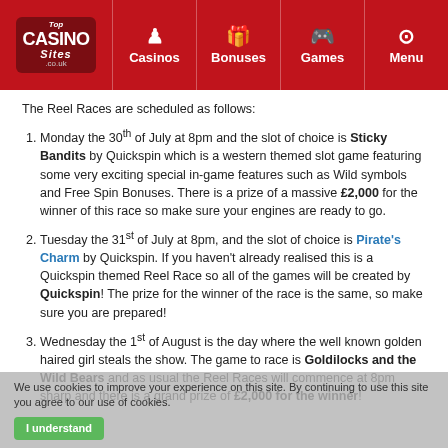Top Casino Sites - Casinos | Bonuses | Games | Menu
The Reel Races are scheduled as follows:
Monday the 30th of July at 8pm and the slot of choice is Sticky Bandits by Quickspin which is a western themed slot game featuring some very exciting special in-game features such as Wild symbols and Free Spin Bonuses. There is a prize of a massive £2,000 for the winner of this race so make sure your engines are ready to go.
Tuesday the 31st of July at 8pm, and the slot of choice is Pirate's Charm by Quickspin. If you haven't already realised this is a Quickspin themed Reel Race so all of the games will be created by Quickspin! The prize for the winner of the race is the same, so make sure you are prepared!
Wednesday the 1st of August is the day where the well known golden haired girl steals the show. The game to race is Goldilocks and the Wild Bears and as usual the Reel Races will commence at 8pm sharp and there is a grand prize of £2,000 for the winner!
We use cookies to improve your experience on this site. By continuing to use this site you agree to our use of cookies. I understand